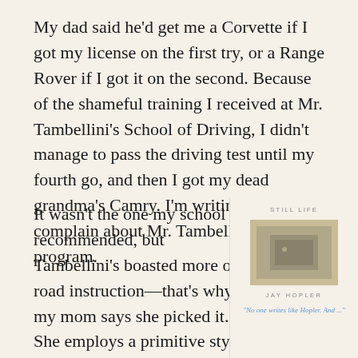My dad said he'd get me a Corvette if I got my license on the first try, or a Range Rover if I got it on the second. Because of the shameful training I received at Mr. Tambellini's School of Driving, I didn't manage to pass the driving test until my fourth go, and then I got my dead grandma's Camry. I'm writing to complain about Mr. Tambellini's program.
It wasn't the one my school recommended, but Tambellini's boasted more on-road instruction—that's why my mom says she picked it. She employs a primitive style of child-rearing, though (classic
[Figure (illustration): Book cover of 'Still Life' by Jay Hopler. Shows the book title in small caps at top, a framed painting image in the center, the author name below, and a partial quote in blue italic text at the bottom reading 'No one writes like Hopler. And ...']